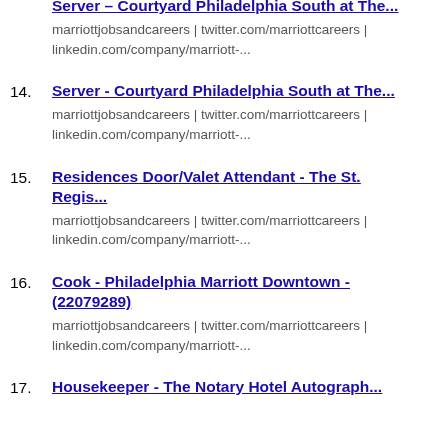13. Server - Courtyard Philadelphia South at The...
marriottjobsandcareers | twitter.com/marriottcareers | linkedin.com/company/marriott-...
14. Server - Courtyard Philadelphia South at The...
marriottjobsandcareers | twitter.com/marriottcareers | linkedin.com/company/marriott-...
15. Residences Door/Valet Attendant - The St. Regis...
marriottjobsandcareers | twitter.com/marriottcareers | linkedin.com/company/marriott-...
16. Cook - Philadelphia Marriott Downtown - (22079289)
marriottjobsandcareers | twitter.com/marriottcareers | linkedin.com/company/marriott-...
17. Housekeeper - The Notary Hotel Autograph...